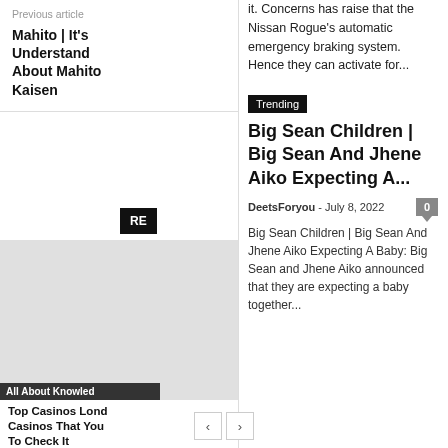it. Concerns has raise that the Nissan Rogue's automatic emergency braking system. Hence they can activate for...
Previous article
Mahito | It's Understand About Mahito Kaisen
RE
All About Knowled
Top Casinos Lond Casinos That You To Check It
Trending
Big Sean Children | Big Sean And Jhene Aiko Expecting A...
DeetsForyou  -  July 8, 2022
Big Sean Children | Big Sean And Jhene Aiko Expecting A Baby: Big Sean and Jhene Aiko announced that they are expecting a baby together...
< >